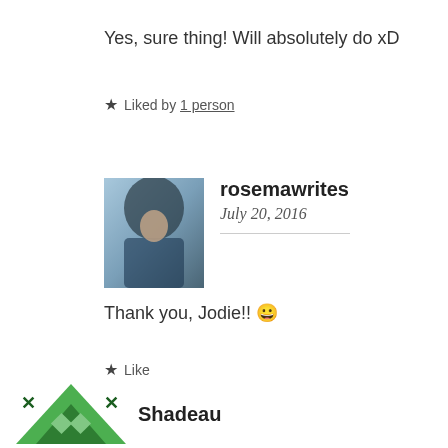Yes, sure thing! Will absolutely do xD
★ Liked by 1 person
rosemawrites
July 20, 2016
Thank you, Jodie!! 😀
★ Like
Shadeau